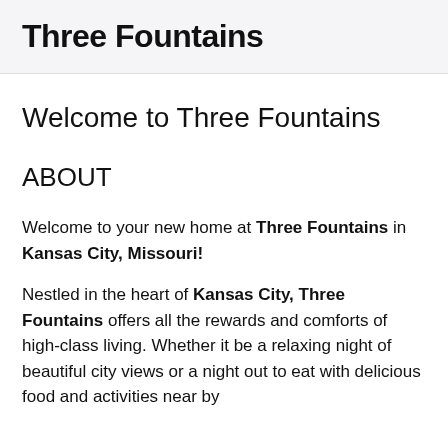Three Fountains
Welcome to Three Fountains
ABOUT
Welcome to your new home at Three Fountains in Kansas City, Missouri!
Nestled in the heart of Kansas City, Three Fountains offers all the rewards and comforts of high-class living. Whether it be a relaxing night of beautiful city views or a night out to eat with delicious food and activities near by...